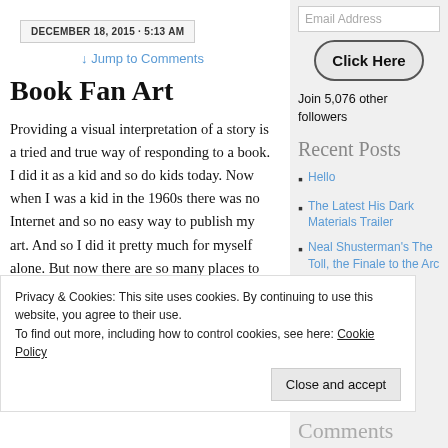DECEMBER 18, 2015 · 5:13 AM
↓ Jump to Comments
Book Fan Art
Providing a visual interpretation of a story is a tried and true way of responding to a book. I did it as a kid and so do kids today. Now when I was a kid in the 1960s there was no Internet and so no easy way to publish my art. And so I did it pretty much for myself alone. But now there are so many places to publish your art.
Email Address
Click Here
Join 5,076 other followers
Recent Posts
Hello
The Latest His Dark Materials Trailer
Neal Shusterman's The Toll, the Finale to the Arc of
Privacy & Cookies: This site uses cookies. By continuing to use this website, you agree to their use.
To find out more, including how to control cookies, see here: Cookie Policy
Close and accept
Comments